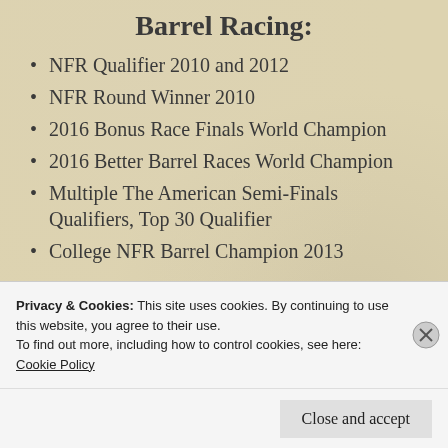Barrel Racing:
NFR Qualifier 2010 and 2012
NFR Round Winner 2010
2016 Bonus Race Finals World Champion
2016 Better Barrel Races World Champion
Multiple The American Semi-Finals Qualifiers, Top 30 Qualifier
College NFR Barrel Champion 2013
Privacy & Cookies: This site uses cookies. By continuing to use this website, you agree to their use.
To find out more, including how to control cookies, see here:
Cookie Policy
Close and accept